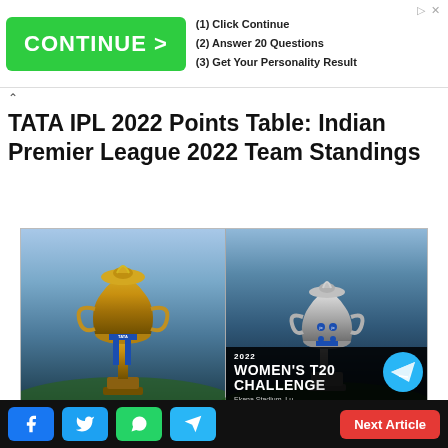[Figure (infographic): Advertisement banner with green CONTINUE > button and steps: (1) Click Continue, (2) Answer 20 Questions, (3) Get Your Personality Result]
TATA IPL 2022 Points Table: Indian Premier League 2022 Team Standings
[Figure (photo): Two images side by side: left shows the IPL trophy (TATA IPL) on a cricket ground; right shows a silver trophy with text '2022 WOMEN'S T20 CHALLENGE, Ekana Stadium, Lu...' with a Telegram logo circle]
Facebook | Twitter | WhatsApp | Telegram | Next Article